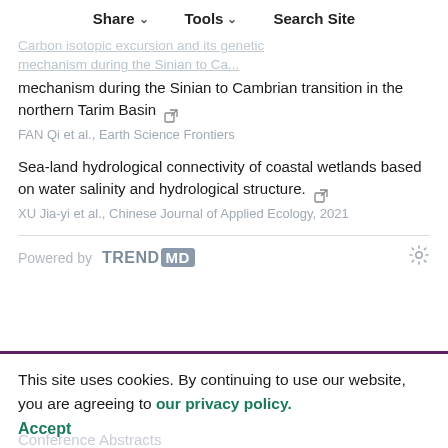Share | Tools | Search Site
Carbon isotopic excursion and its genetic mechanism during the Sinian to Cambrian transition in the northern Tarim Basin
FAN Qi et al., Earth Science Frontiers
Sea-land hydrological connectivity of coastal wetlands based on water salinity and hydrological structure.
XU Jia-yi et al., Chinese Journal of Applied Ecology, 2021
Powered by TRENDMD
This site uses cookies. By continuing to use our website, you are agreeing to our privacy policy. Accept